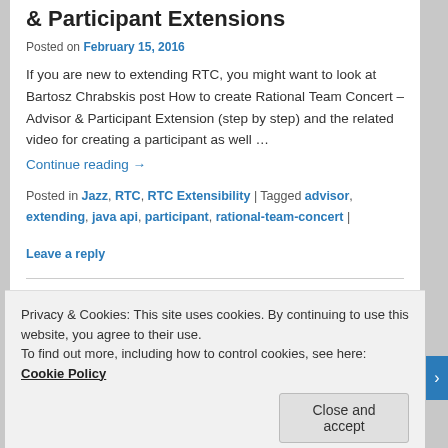& Participant Extensions
Posted on February 15, 2016
If you are new to extending RTC, you might want to look at Bartosz Chrabskis post How to create Rational Team Concert – Advisor & Participant Extension (step by step) and the related video for creating a participant as well …
Continue reading →
Posted in Jazz, RTC, RTC Extensibility | Tagged advisor, extending, java api, participant, rational-team-concert | Leave a reply
Privacy & Cookies: This site uses cookies. By continuing to use this website, you agree to their use.
To find out more, including how to control cookies, see here: Cookie Policy